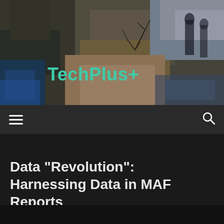[Figure (photo): Background photo of rocky terrain with water, trees and misty/icy textures in blues, grays, and browns]
TechPlus+
≡  🔍
Data "Revolution": Harnessing Data in MAF Reports